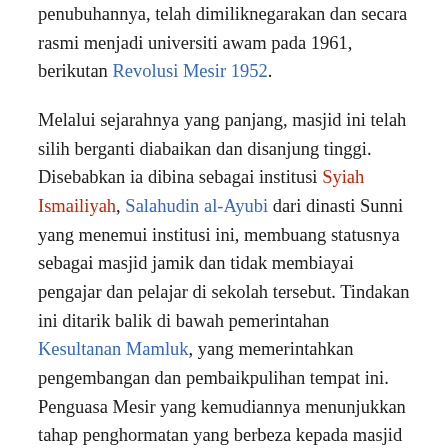penubuhannya, telah dimiliknegarakan dan secara rasmi menjadi universiti awam pada 1961, berikutan Revolusi Mesir 1952.
Melalui sejarahnya yang panjang, masjid ini telah silih berganti diabaikan dan disanjung tinggi. Disebabkan ia dibina sebagai institusi Syiah Ismailiyah, Salahudin al-Ayubi dari dinasti Sunni yang menemui institusi ini, membuang statusnya sebagai masjid jamik dan tidak membiayai pengajar dan pelajar di sekolah tersebut. Tindakan ini ditarik balik di bawah pemerintahan Kesultanan Mamluk, yang memerintahkan pengembangan dan pembaikpulihan tempat ini. Penguasa Mesir yang kemudiannya menunjukkan tahap penghormatan yang berbeza kepada masjid ini dan memberikan pelbagai bantuan kewangan, sama ada kepada sekolah mahupun bagi pemeliharaan masjid. Kini, al-Azhar kekal menjadi institusi berpengaruh bagi masyarakat Mesir yang diikuti